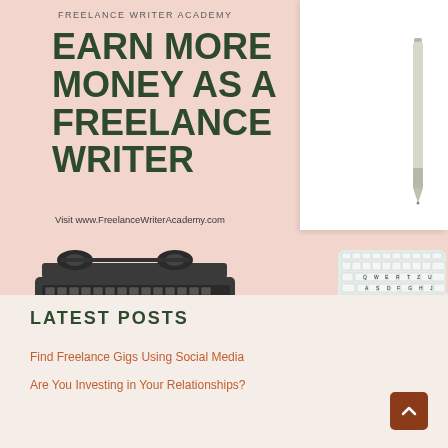FREELANCE WRITER ACADEMY
EARN MORE MONEY AS A FREELANCE WRITER
Visit www.FreelanceWriterAcademy.com
[Figure (illustration): Pink banner background with white notebook, pen, typewriter, keyboard and Freelance Writer Academy logo]
LATEST POSTS
Find Freelance Gigs Using Social Media
Are You Investing in Your Relationships?